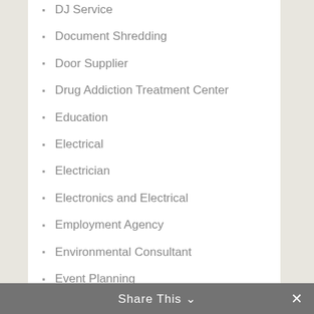DJ Service
Document Shredding
Door Supplier
Drug Addiction Treatment Center
Education
Electrical
Electrician
Electronics and Electrical
Employment Agency
Environmental Consultant
Event Planning
Event Venue
Eye Care
Eyeglasses
Fence Contractor
Fertilizer Supplier
Fire Places and Stoves
Share This